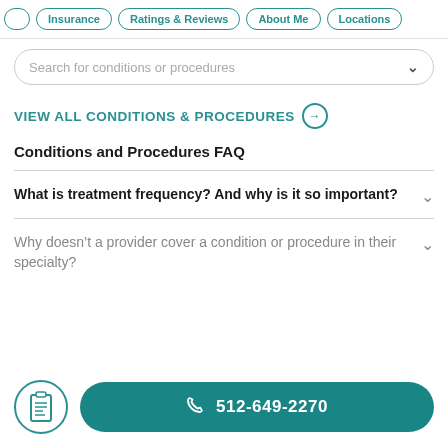Insurance | Ratings & Reviews | About Me | Locations
Search for conditions or procedures
VIEW ALL CONDITIONS & PROCEDURES →
Conditions and Procedures FAQ
What is treatment frequency? And why is it so important?
Why doesn't a provider cover a condition or procedure in their specialty?
512-649-2270